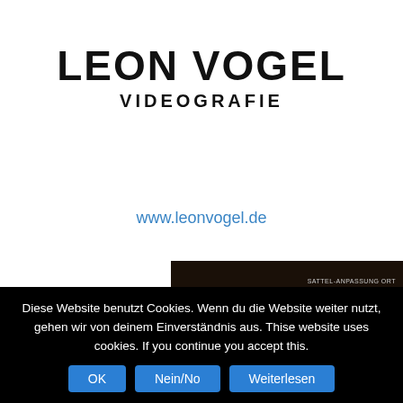LEON VOGEL
VIDEOGRAFIE
www.leonvogel.de
[Figure (screenshot): Dark banner image for 'El Campo' with a decorative circular logo on the left, golden 'EL CAMPO' text in the center, small white text 'Sattel-Anpassung Ort Bundesweit' on the upper right, and a dark brown textured background at the bottom.]
Diese Website benutzt Cookies. Wenn du die Website weiter nutzt, gehen wir von deinem Einverständnis aus. Thise website uses cookies. If you continue you accept this.
OK
Nein/No
Weiterlesen